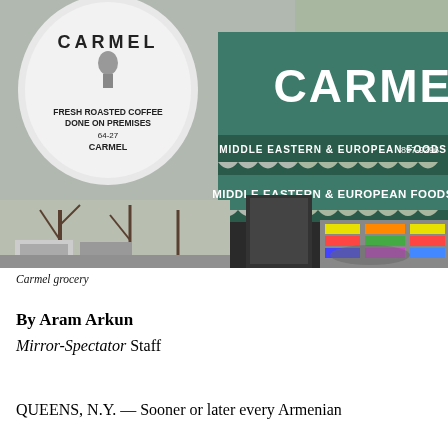[Figure (photo): Exterior photograph of Carmel grocery store showing teal awning with 'CARMEL' in large white letters, signage reading 'MIDDLE EASTERN & EUROPEAN FOODS 897-9296', a round sign on the left reading 'FRESH ROASTED COFFEE DONE ON PREMISES 64-27 CARMEL', store windows with colorful price signs, and a street scene with parked cars and bare trees.]
Carmel grocery
By Aram Arkun
Mirror-Spectator Staff
QUEENS, N.Y. — Sooner or later every Armenian